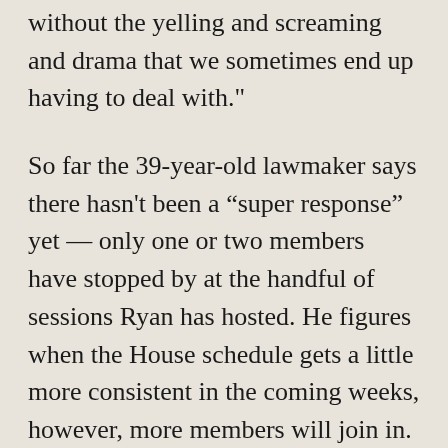without the yelling and screaming and drama that we sometimes end up having to deal with."
So far the 39-year-old lawmaker says there hasn't been a “super response” yet — only one or two members have stopped by at the handful of sessions Ryan has hosted. He figures when the House schedule gets a little more consistent in the coming weeks, however, more members will join in.
The interest, he says, has been on both sides of the aisle: “I just think it’s because with the level of activity and information and stress